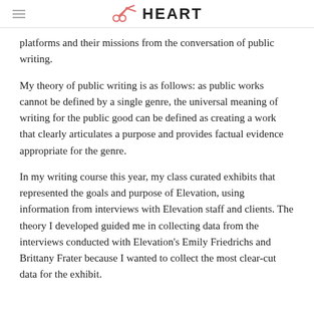HEART
platforms and their missions from the conversation of public writing.
My theory of public writing is as follows: as public works cannot be defined by a single genre, the universal meaning of writing for the public good can be defined as creating a work that clearly articulates a purpose and provides factual evidence appropriate for the genre.
In my writing course this year, my class curated exhibits that represented the goals and purpose of Elevation, using information from interviews with Elevation staff and clients. The theory I developed guided me in collecting data from the interviews conducted with Elevation's Emily Friedrichs and Brittany Frater because I wanted to collect the most clear-cut data for the exhibit.